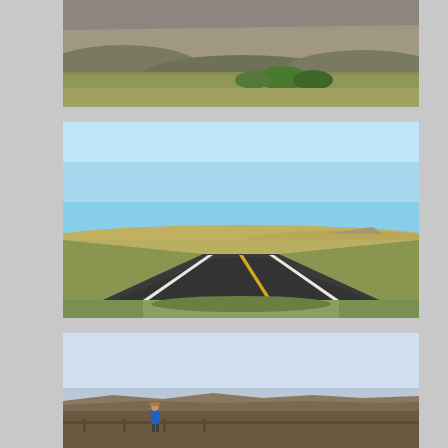[Figure (photo): Landscape photo of badlands terrain with layered grey rock formations and green grassy foreground]
[Figure (photo): Road trip photo taken from inside a car showing a straight two-lane highway stretching into the horizon across open prairie under a clear blue sky]
[Figure (photo): A person in a blue jacket standing at an overlook viewpoint looking out over a vast badlands landscape under a hazy sky]